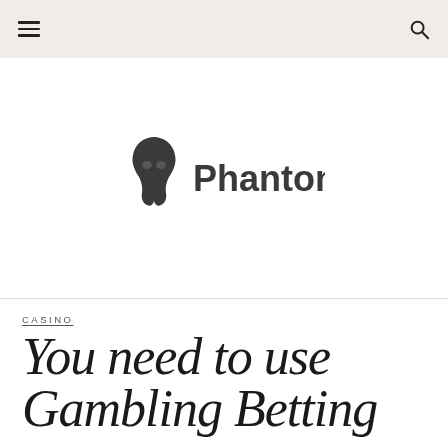[Figure (logo): Phantom logo: stylized phantom mask icon in dark grey with the word 'Phantom' in bold dark grey sans-serif text]
CASINO
You need to use Gambling Betting